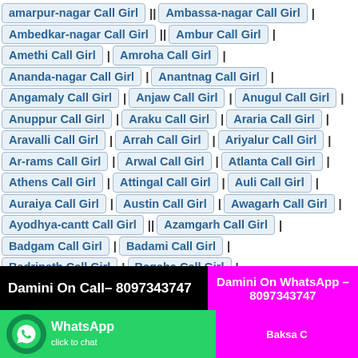amarpur-nagar Call Girl | Ambassa-nagar Call Girl |
Ambedkar-nagar Call Girl | Ambur Call Girl |
Amethi Call Girl | Amroha Call Girl |
Ananda-nagar Call Girl | Anantnag Call Girl |
Angamaly Call Girl | Anjaw Call Girl | Anugul Call Girl |
Anuppur Call Girl | Araku Call Girl | Araria Call Girl |
Aravalli Call Girl | Arrah Call Girl | Ariyalur Call Girl |
Ar-rams Call Girl | Arwal Call Girl | Atlanta Call Girl |
Athens Call Girl | Attingal Call Girl | Auli Call Girl |
Auraiya Call Girl | Austin Call Girl | Awagarh Call Girl |
Ayodhya-cantt Call Girl | Azamgarh Call Girl |
Badgam Call Girl | Badami Call Girl |
Badrinath Call Girl | Bagaha Call Girl |
Bagalkot Call Girl | Bageshwar Call Girl |
Damini On Call– 8097343747
Damini On WhatsApp – 8097343747
Baksa C...